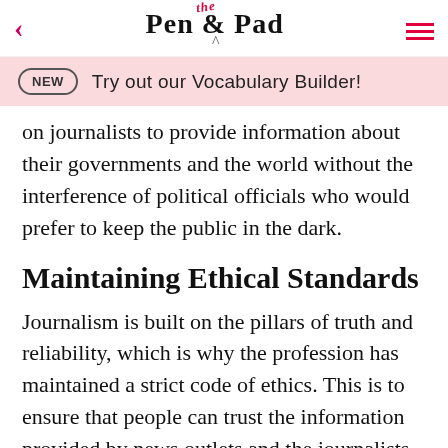Pen & the Pad
NEW   Try out our Vocabulary Builder!
on journalists to provide information about their governments and the world without the interference of political officials who would prefer to keep the public in the dark.
Maintaining Ethical Standards
Journalism is built on the pillars of truth and reliability, which is why the profession has maintained a strict code of ethics. This is to ensure that people can trust the information provided by news outlets and the journalists who work for them. Industry organizations such as the Society of Professional Journalists strive to guarantee that